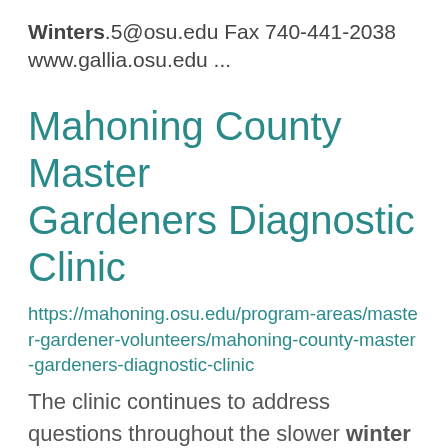Winters.5@osu.edu Fax 740-441-2038
www.gallia.osu.edu ...
Mahoning County Master Gardeners Diagnostic Clinic
https://mahoning.osu.edu/program-areas/master-gardener-volunteers/mahoning-county-master-gardeners-diagnostic-clinic
The clinic continues to address questions throughout the slower winter season as needed.  Please ...
4-H Camp
https://gallia.osu.edu/program-areas/4-h-youth-development/gallia-county-4-h-camp
... Teen Winter Retreat COMPLETED ...